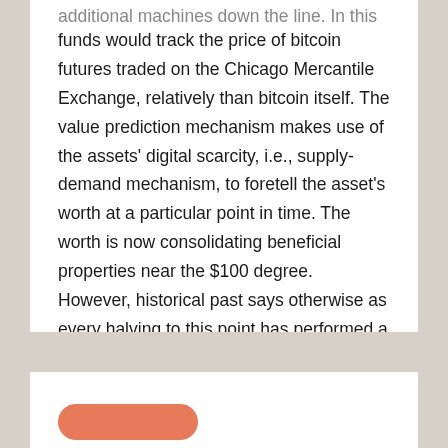funds would track the price of bitcoin futures traded on the Chicago Mercantile Exchange, relatively than bitcoin itself. The value prediction mechanism makes use of the assets' digital scarcity, i.e., supply-demand mechanism, to foretell the asset's worth at a particular point in time. The worth is now consolidating beneficial properties near the $100 degree. However, historical past says otherwise as every halving to this point has performed a vital function in pushing Bitcoin's price upwards.
Saint   6 Days Ago